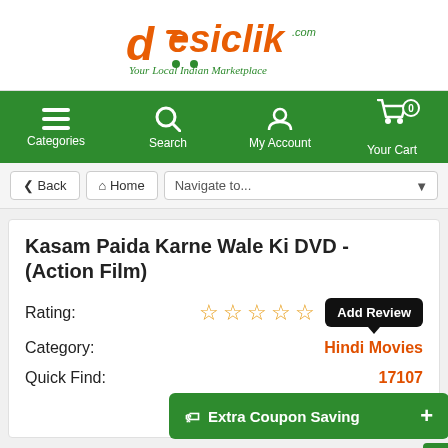[Figure (logo): Desiclik.com logo with orange and green text, tagline 'Your Local Indian Marketplace']
Categories | Search | My Account | Your Cart (0)
< Back   Home   Navigate to...
Kasam Paida Karne Wale Ki DVD - (Action Film)
Rating: ☆☆☆☆☆ Add Review
Category: Hindi Movies
Quick Find: 17107
Extra Coupon Saving +